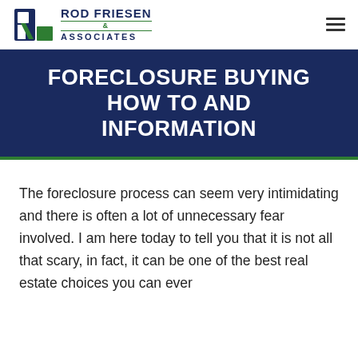Rod Friesen & Associates
FORECLOSURE BUYING HOW TO AND INFORMATION
The foreclosure process can seem very intimidating and there is often a lot of unnecessary fear involved. I am here today to tell you that it is not all that scary, in fact, it can be one of the best real estate choices you can ever